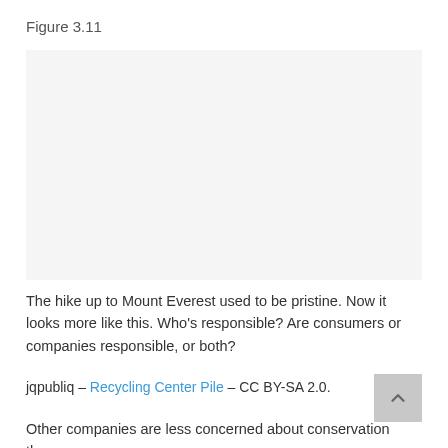Figure 3.11
[Figure (photo): Photo placeholder area for a recycling center pile image on Mount Everest trail]
The hike up to Mount Everest used to be pristine. Now it looks more like this. Who’s responsible? Are consumers or companies responsible, or both?
jqpubliq – Recycling Center Pile – CC BY-SA 2.0.
Other companies are less concerned about conservation than